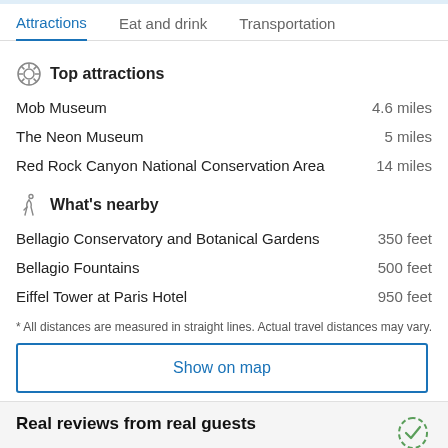Attractions | Eat and drink | Transportation
Top attractions
Mob Museum  4.6 miles
The Neon Museum  5 miles
Red Rock Canyon National Conservation Area  14 miles
What's nearby
Bellagio Conservatory and Botanical Gardens  350 feet
Bellagio Fountains  500 feet
Eiffel Tower at Paris Hotel  950 feet
* All distances are measured in straight lines. Actual travel distances may vary.
Show on map
Real reviews from real guests